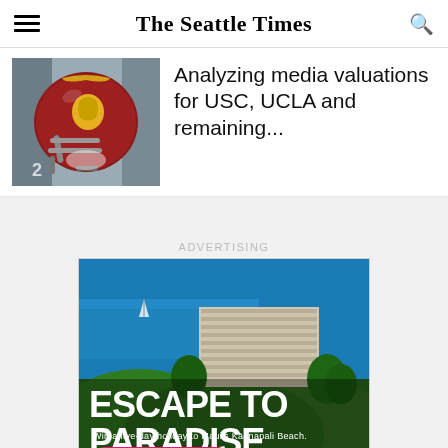The Seattle Times
[Figure (photo): USC Trojans football helmet close-up, player in red helmet with gold Trojan logo]
Analyzing media valuations for USC, UCLA and remaining...
ADVERTISING
[Figure (photo): Advertisement showing aerial view of a hotel near Kaanapali Beach, Maui with text: ESCAPE TO PARADISE. Win a five-day holiday to Maui's Kaanapali Beach. ENTER TO WIN button in pink.]